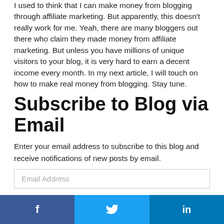I used to think that I can make money from blogging through affiliate marketing. But apparently, this doesn't really work for me. Yeah, there are many bloggers out there who claim they made money from affiliate marketing. But unless you have millions of unique visitors to your blog, it is very hard to earn a decent income every month. In my next article, I will touch on how to make real money from blogging. Stay tune.
Subscribe to Blog via Email
Enter your email address to subscribe to this blog and receive notifications of new posts by email.
Email Address
f   🐦   in